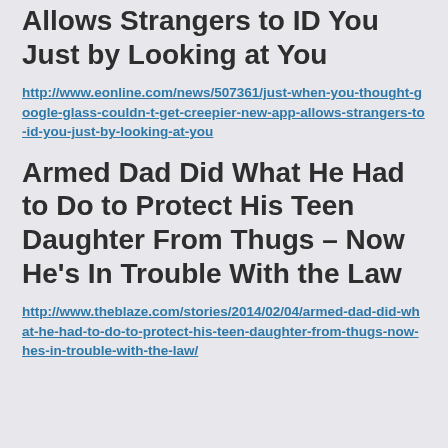Allows Strangers to ID You Just by Looking at You
http://www.eonline.com/news/507361/just-when-you-thought-google-glass-couldn-t-get-creepier-new-app-allows-strangers-to-id-you-just-by-looking-at-you
Armed Dad Did What He Had to Do to Protect His Teen Daughter From Thugs – Now He's In Trouble With the Law
http://www.theblaze.com/stories/2014/02/04/armed-dad-did-what-he-had-to-do-to-protect-his-teen-daughter-from-thugs-now-hes-in-trouble-with-the-law/